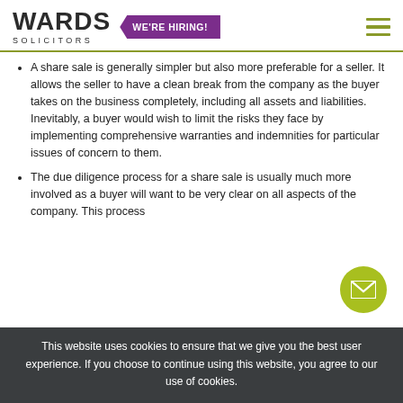WARDS SOLICITORS — WE'RE HIRING!
A share sale is generally simpler but also more preferable for a seller. It allows the seller to have a clean break from the company as the buyer takes on the business completely, including all assets and liabilities. Inevitably, a buyer would wish to limit the risks they face by implementing comprehensive warranties and indemnities for particular issues of concern to them.
The due diligence process for a share sale is usually much more involved as a buyer will want to be very clear on all aspects of the company. This process…
This website uses cookies to ensure that we give you the best user experience. If you choose to continue using this website, you agree to our use of cookies.